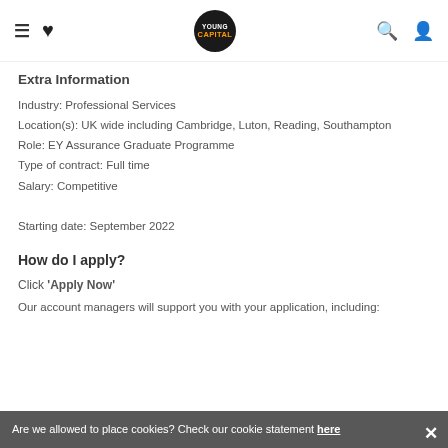Young Capital navigation bar with hamburger menu, heart icon, logo, search and account icons
Extra Information
Industry: Professional Services
Location(s): UK wide including Cambridge, Luton, Reading, Southampton
Role: EY Assurance Graduate Programme
Type of contract: Full time
Salary: Competitive

Starting date: September 2022
How do I apply?
Click 'Apply Now'
Our account managers will support you with your application, including:
Are we allowed to place cookies? Check our cookie statement here